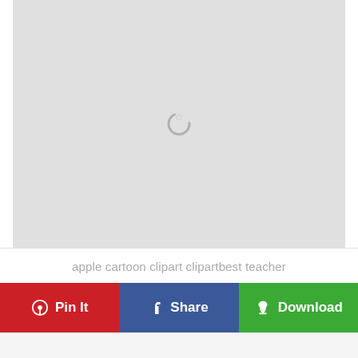[Figure (screenshot): Light gray image placeholder area with a circular loading spinner in the upper-center portion]
apple cartoon clipart clipartbest teacher
Pin It | Share | Download